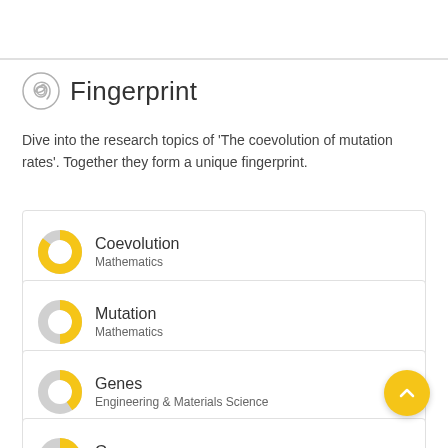Fingerprint
Dive into the research topics of 'The coevolution of mutation rates'. Together they form a unique fingerprint.
Coevolution
Mathematics
Mutation
Mathematics
Genes
Engineering & Materials Science
Gene
Mathematics